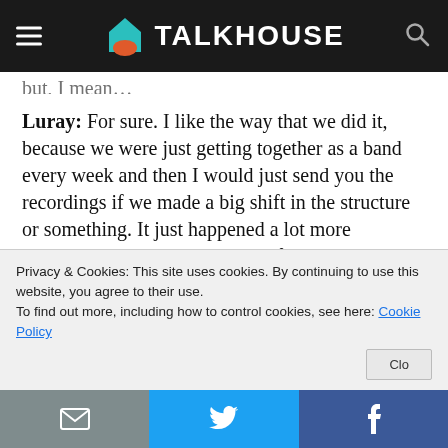TALKHOUSE
but, I mean…
Luray: For sure. I like the way that we did it, because we were just getting together as a band every week and then I would just send you the recordings if we made a big shift in the structure or something. It just happened a lot more organically this time versus the first record, when I just did everything. I wrote everything and then came out to Eau Claire, and we kind of put it together on the
Privacy & Cookies: This site uses cookies. By continuing to use this website, you agree to their use.
To find out more, including how to control cookies, see here: Cookie Policy